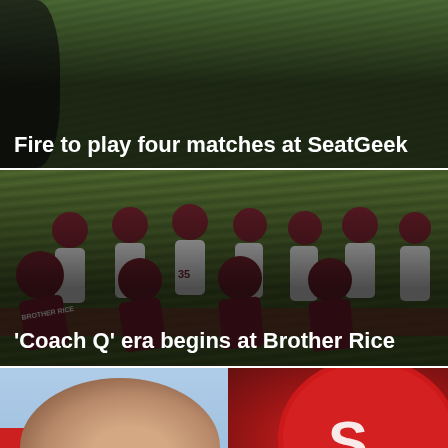[Figure (photo): Background photo of grass/soccer scene partially visible at top, with dark overlay. Shows partial headline text about Pro Soccer Report and Chicago Fire.]
Pro Soccer Report: Chicago Fire to play four matches at SeatGeek
[Figure (photo): Football players in maroon/dark red helmets and uniforms doing drills on a field. Players wearing 'Brother Rice' jerseys, some in white, some in maroon. Player #35 visible in white jersey.]
'Coach Q' era begins at Brother Rice
[Figure (photo): Close-up of a coach's face/head (back of head visible) and a red football helmet with 'COUGS' label and red 'S' logo visible.]